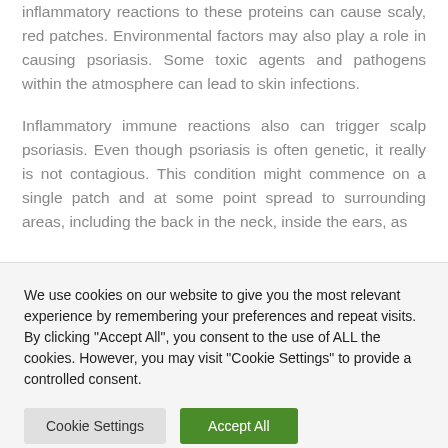inflammatory reactions to these proteins can cause scaly, red patches. Environmental factors may also play a role in causing psoriasis. Some toxic agents and pathogens within the atmosphere can lead to skin infections.
Inflammatory immune reactions also can trigger scalp psoriasis. Even though psoriasis is often genetic, it really is not contagious. This condition might commence on a single patch and at some point spread to surrounding areas, including the back in the neck, inside the ears, as
We use cookies on our website to give you the most relevant experience by remembering your preferences and repeat visits. By clicking "Accept All", you consent to the use of ALL the cookies. However, you may visit "Cookie Settings" to provide a controlled consent.